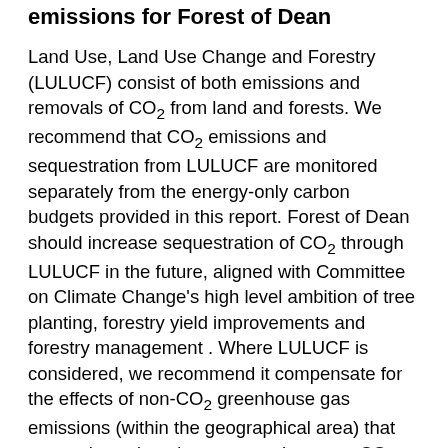emissions for Forest of Dean
Land Use, Land Use Change and Forestry (LULUCF) consist of both emissions and removals of CO₂ from land and forests. We recommend that CO₂ emissions and sequestration from LULUCF are monitored separately from the energy-only carbon budgets provided in this report. Forest of Dean should increase sequestration of CO₂ through LULUCF in the future, aligned with Committee on Climate Change's high level ambition of tree planting, forestry yield improvements and forestry management . Where LULUCF is considered, we recommend it compensate for the effects of non-CO₂ greenhouse gas emissions (within the geographical area) that cannot be reduced to zero, such as non-CO₂ emissions from